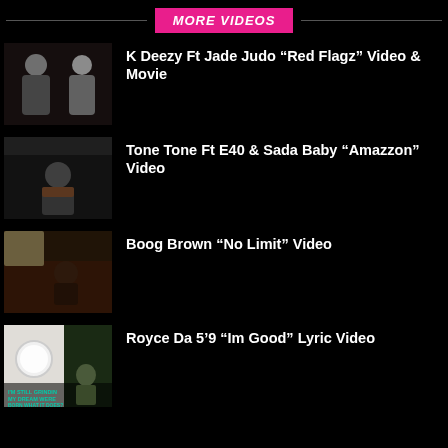MORE VIDEOS
K Deezy Ft Jade Judo “Red Flagz” Video & Movie
Tone Tone Ft E40 & Sada Baby “Amazzon” Video
Boog Brown “No Limit” Video
Royce Da 5’9 “Im Good” Lyric Video